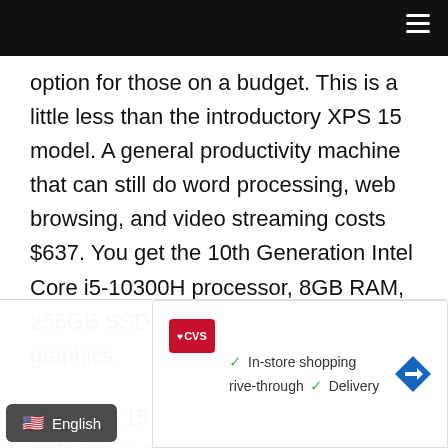[Navigation bar with hamburger menu]
option for those on a budget. This is a little less than the introductory XPS 15 model. A general productivity machine that can still do word processing, web browsing, and video streaming costs $637. You get the 10th Generation Intel Core i5-10300H processor, 8GB RAM, 256GB SSD, and integrated Intel UHD graphics.
The XPS 15 is a lightweight, thin, 15-inch device that offers a performance boost. It can handle